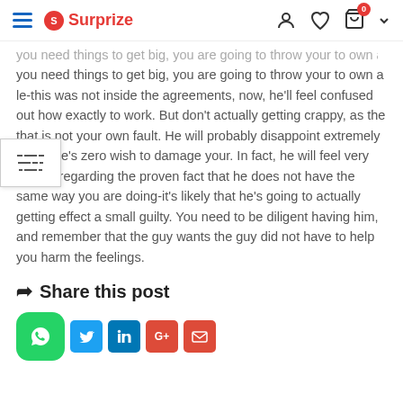Surprize [navigation header with hamburger, logo, user, wishlist, cart icons]
you need things to get big, you are going to throw your to own a le-this was not inside the agreements, now, he'll feel confused out how exactly to work. But don't actually getting crappy, as the that is not your own fault. He will probably disappoint extremely lightly-he's zero wish to damage your. In fact, he will feel very crappy regarding the proven fact that he does not have the same way you are doing-it's likely that he's going to actually getting effect a small guilty. You need to be diligent having him, and remember that the guy wants the guy did not have to help you harm the feelings.
Share this post
[Figure (other): Social share icons: WhatsApp (green), Twitter (blue), LinkedIn (blue), Google+ (red), Email (red)]